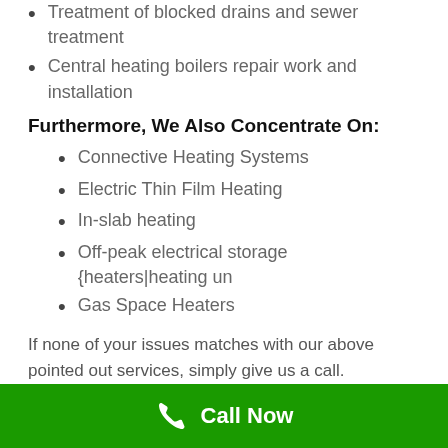Treatment of blocked drains and sewer treatment
Central heating boilers repair work and installation
Furthermore, We Also Concentrate On:
Connective Heating Systems
Electric Thin Film Heating
In-slab heating
Off-peak electrical storage {heaters|heating un
Gas Space Heaters
If none of your issues matches with our above pointed out services, simply give us a call. Someone from our team will make a visit to your home and sort your problem out. Call
Call Now